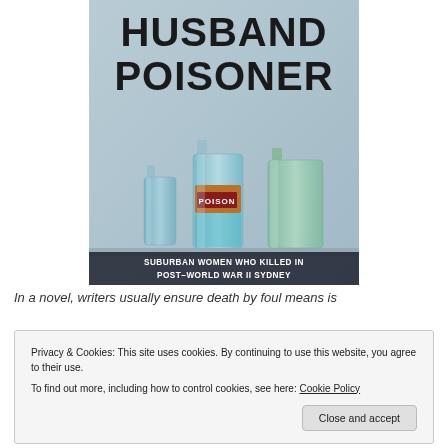[Figure (illustration): Book cover for 'Husband Poisoner: Suburban Women Who Killed in Post-World War II Sydney'. Features three antique glass bottles (blue and green) on a shelf with a red POISON label on the central bottle, against a muted blue-grey background. Title text in large bold black capitals at top.]
In a novel, writers usually ensure death by foul means is...
Privacy & Cookies: This site uses cookies. By continuing to use this website, you agree to their use.
To find out more, including how to control cookies, see here: Cookie Policy
Close and accept